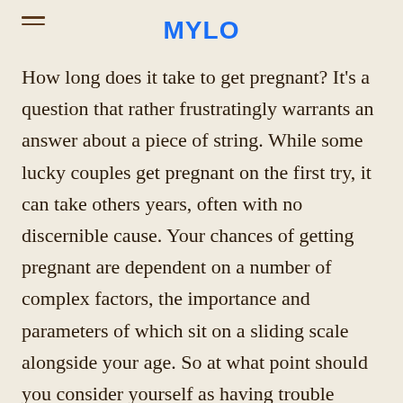MYLO
How long does it take to get pregnant? It's a question that rather frustratingly warrants an answer about a piece of string. While some lucky couples get pregnant on the first try, it can take others years, often with no discernible cause. Your chances of getting pregnant are dependent on a number of complex factors, the importance and parameters of which sit on a sliding scale alongside your age. So at what point should you consider yourself as having trouble conceiving and seek help? Here we break down your chances of getting pregnant by age and offer advice on when to see